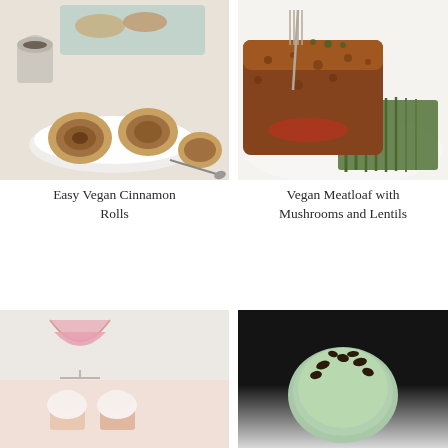[Figure (photo): Vegan cinnamon rolls on a white plate with a small ceramic cup of coffee, baking dish in background on marble surface]
Easy Vegan Cinnamon Rolls
[Figure (photo): Vegan meatloaf with mushrooms and lentils sliced on a white plate with green beans and fork]
Vegan Meatloaf with Mushrooms and Lentils
[Figure (photo): Light pink cocktail in a coupe glass (top) and cupcakes (bottom) on light background]
[Figure (photo): Mint green ice cream scoop with dark chocolate toppings on black background fading to white]